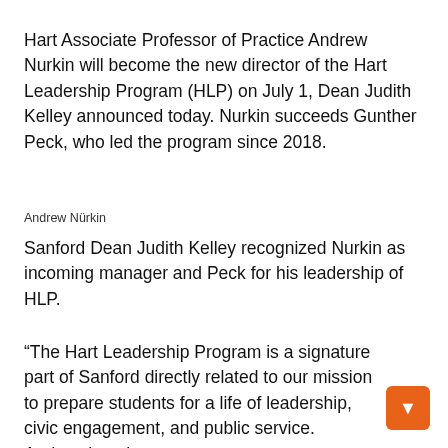Hart Associate Professor of Practice Andrew Nurkin will become the new director of the Hart Leadership Program (HLP) on July 1, Dean Judith Kelley announced today. Nurkin succeeds Gunther Peck, who led the program since 2018.
Andrew Nürkin
Sanford Dean Judith Kelley recognized Nurkin as incoming manager and Peck for his leadership of HLP.
“The Hart Leadership Program is a signature part of Sanford directly related to our mission to prepare students for a life of leadership, civic engagement, and public service. Andrew has the